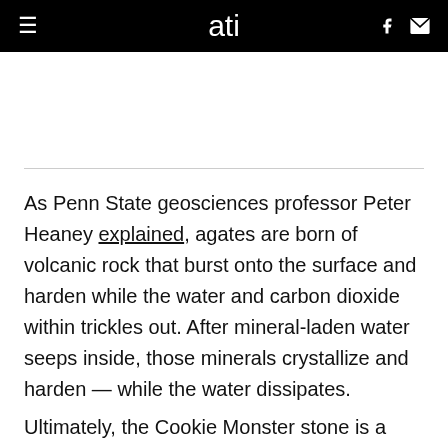ati
As Penn State geosciences professor Peter Heaney explained, agates are born of volcanic rock that burst onto the surface and harden while the water and carbon dioxide within trickles out. After mineral-laden water seeps inside, those minerals crystallize and harden — while the water dissipates.
Ultimately, the Cookie Monster stone is a